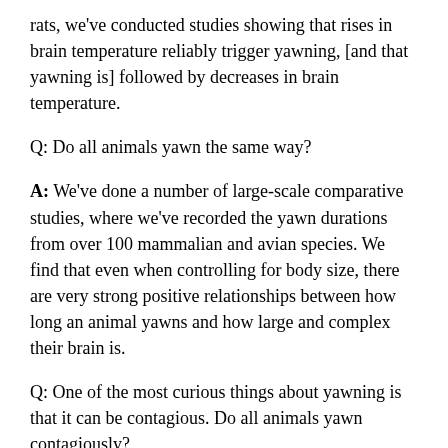rats, we've conducted studies showing that rises in brain temperature reliably trigger yawning, [and that yawning is] followed by decreases in brain temperature.
Q: Do all animals yawn the same way?
A: We've done a number of large-scale comparative studies, where we've recorded the yawn durations from over 100 mammalian and avian species. We find that even when controlling for body size, there are very strong positive relationships between how long an animal yawns and how large and complex their brain is.
Q: One of the most curious things about yawning is that it can be contagious. Do all animals yawn contagiously?
A: We've been talking about spontaneous yawns up to